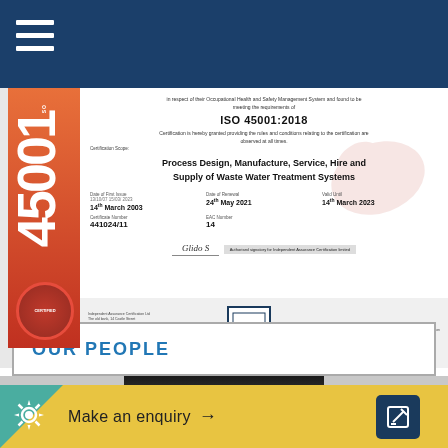Navigation menu (hamburger icon)
[Figure (photo): ISO 45001:2018 certificate for Process Design, Manufacture, Service, Hire and Supply of Waste Water Treatment Systems. Date of First Issue: 14th March 2003, Date of Renewal: 24th May 2021, Valid Until: 14th March 2023, Certificate Number: 441024/11, EAC Number: 14. Features red/orange ISO 45001 sidebar, red seal, UKAS accreditation logo, and signature area.]
OUR PEOPLE
[Figure (photo): Partial photo of a person's head, cropped at top of frame]
Make an enquiry →